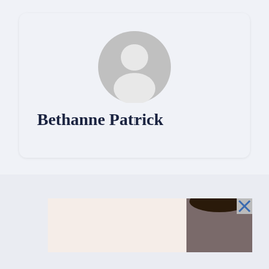[Figure (screenshot): Profile card showing a generic user avatar icon (gray circle with person silhouette) and the name 'Bethanne Patrick' in bold serif font, on a light grayish-blue background card with rounded corners.]
Bethanne Patrick
[Figure (photo): Partial view of an advertisement banner with a photo of a person (head and hair visible on right side) and a close/X button in the upper right corner.]